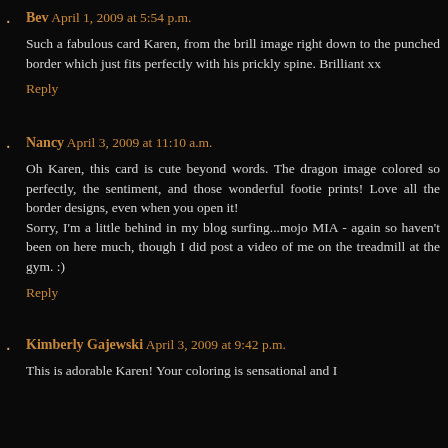Bev April 1, 2009 at 5:54 p.m.
Such a fabulous card Karen, from the brill image right down to the punched border which just fits perfectly with his prickly spine. Brilliant xx
Reply
Nancy April 3, 2009 at 11:10 a.m.
Oh Karen, this card is cute beyond words. The dragon image colored so perfectly, the sentiment, and those wonderful footie prints! Love all the border designs, even when you open it! Sorry, I'm a little behind in my blog surfing...mojo MIA - again so haven't been on here much, though I did post a video of me on the treadmill at the gym. :)
Reply
Kimberly Gajewski April 3, 2009 at 9:42 p.m.
This is adorable Karen! Your coloring is sensational and I